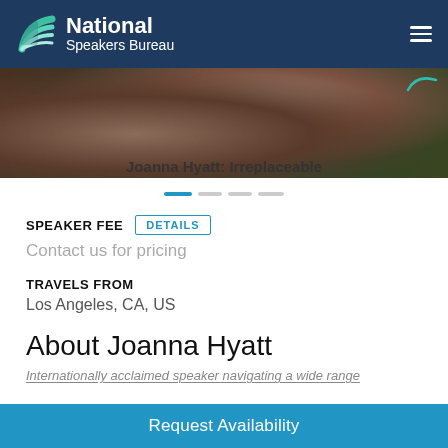National Speakers Bureau
[Figure (photo): Partial photo of a woman with dark hair, cropped to show lower face and shoulder, wearing blue, with green foliage background]
Joanna Hyatt: Irreplaceable
SPEAKER FEE  DETAILS
Contact us for pricing
TRAVELS FROM
Los Angeles, CA, US
About Joanna Hyatt
Internationally acclaimed speaker navigating a wide range
Request Availability